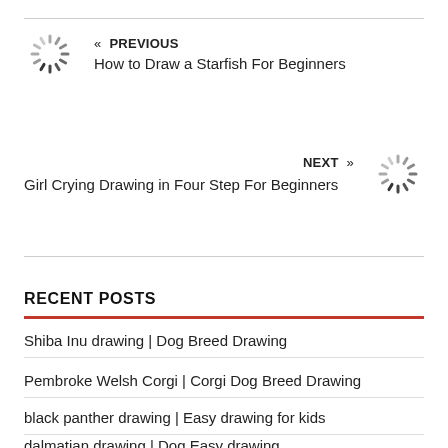« PREVIOUS
How to Draw a Starfish For Beginners
NEXT »
Girl Crying Drawing in Four Step For Beginners
RECENT POSTS
Shiba Inu drawing | Dog Breed Drawing
Pembroke Welsh Corgi | Corgi Dog Breed Drawing
black panther drawing | Easy drawing for kids
dalmatian drawing | Dog Easy drawing